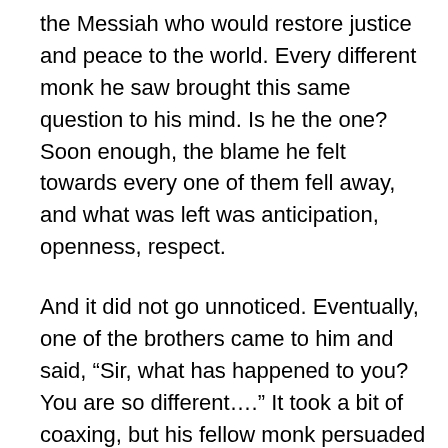the Messiah who would restore justice and peace to the world. Every different monk he saw brought this same question to his mind. Is he the one? Soon enough, the blame he felt towards every one of them fell away, and what was left was anticipation, openness, respect.

And it did not go unnoticed. Eventually, one of the brothers came to him and said, “Sir, what has happened to you? You are so different.…” It took a bit of coaxing, but his fellow monk persuaded him to share his experience with the Rabbi, which he did. The revelation was stunning. His brother monk caught “the Messiah is one of you” vision, and soon enough, it spread all throughout the monastery, until every monk was wondering about every other monk, Could he be the one? Is he the one?